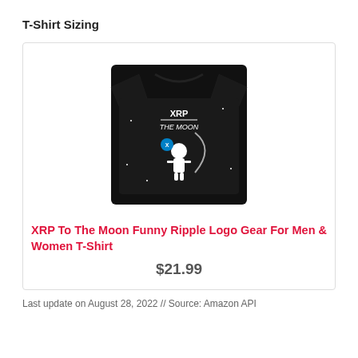T-Shirt Sizing
[Figure (photo): Black t-shirt with astronaut and 'XRP TO THE MOON' graphic printed on front]
XRP To The Moon Funny Ripple Logo Gear For Men & Women T-Shirt
$21.99
Last update on August 28, 2022 // Source: Amazon API